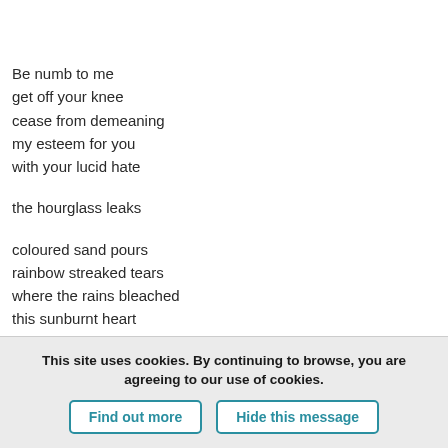Be numb to me
get off your knee
cease from demeaning
my esteem for you
with your lucid hate
the hourglass leaks
coloured sand pours
rainbow streaked tears
where the rains bleached
this sunburnt heart
with the acid of your disdain
This site uses cookies. By continuing to browse, you are agreeing to our use of cookies.
Find out more
Hide this message